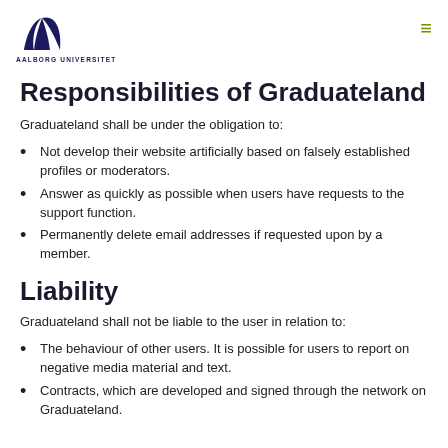AALBORG UNIVERSITET
Responsibilities of Graduateland
Graduateland shall be under the obligation to:
Not develop their website artificially based on falsely established profiles or moderators.
Answer as quickly as possible when users have requests to the support function.
Permanently delete email addresses if requested upon by a member.
Liability
Graduateland shall not be liable to the user in relation to:
The behaviour of other users. It is possible for users to report on negative media material and text.
Contracts, which are developed and signed through the network on Graduateland.